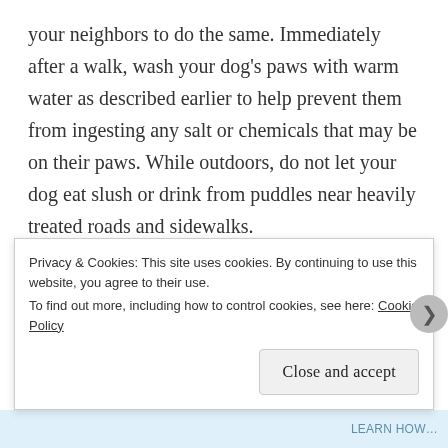your neighbors to do the same. Immediately after a walk, wash your dog's paws with warm water as described earlier to help prevent them from ingesting any salt or chemicals that may be on their paws. While outdoors, do not let your dog eat slush or drink from puddles near heavily treated roads and sidewalks.

Dogs are susceptible to frostbite and hypothermia just as people are so use common sense as to how long your walks can be. Keep them short and watch for signs of hypothermia such as shivering.
Privacy & Cookies: This site uses cookies. By continuing to use this website, you agree to their use.
To find out more, including how to control cookies, see here: Cookie Policy
Close and accept